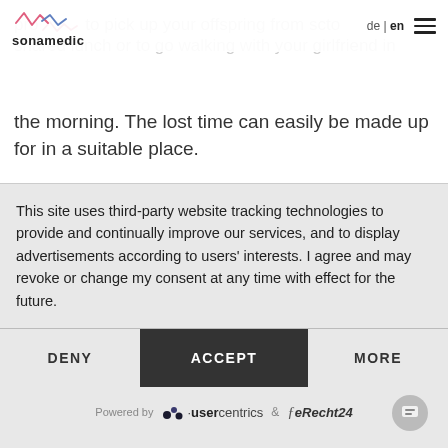sonamedic | de | en
problem to pick up your offspring from school, to share a shared lunch or to go walking with your girlfriend in the morning. The lost time can easily be made up for in a suitable place.
Being in a home office means being able to work
This site uses third-party website tracking technologies to provide and continually improve our services, and to display advertisements according to users' interests. I agree and may revoke or change my consent at any time with effect for the future.
DENY | ACCEPT | MORE
Powered by usercentrics & eRecht24